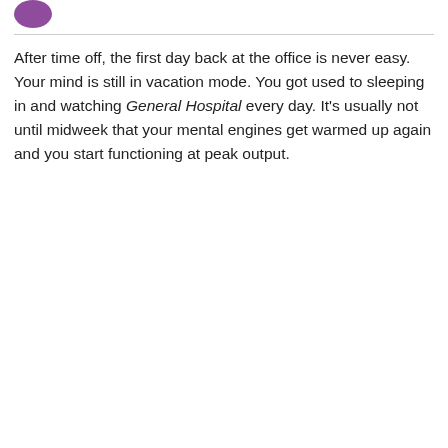[Figure (logo): Purple circular logo mark in top left corner]
After time off, the first day back at the office is never easy. Your mind is still in vacation mode. You got used to sleeping in and watching General Hospital every day. It's usually not until midweek that your mental engines get warmed up again and you start functioning at peak output.